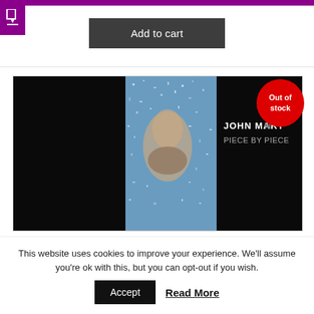[Figure (screenshot): Add to cart button on a white background with purple top bar and download icon]
[Figure (photo): Album cover for John Martyn Piece By Piece showing a man's face surrounded by water droplets/particles against a blue background. Black areas on left and right. 'Out of stock' red circle badge in top-right corner.]
This website uses cookies to improve your experience. We'll assume you're ok with this, but you can opt-out if you wish.
Accept    Read More